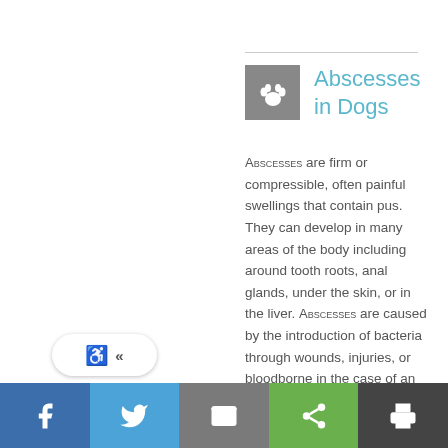Abscesses in Dogs
Abscesses are firm or compressible, often painful swellings that contain pus. They can develop in many areas of the body including around tooth roots, anal glands, under the skin, or in the liver. Abscesses are caused by the introduction of bacteria through wounds, injuries, or bloodborne in the case of an internal organ abscess. Any area of the body that becomes infected can
[Figure (illustration): Gray square icon with white paw print]
Social sharing toolbar with Facebook, Twitter, Email, Share, and Print icons